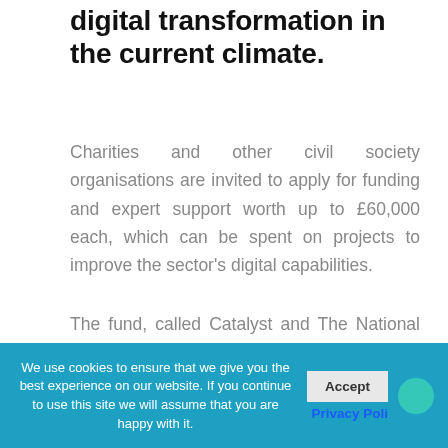digital transformation in the current climate.
Charities and other civil society organisations are invited to apply for funding and expert support worth up to £60,000 each, which can be spent on projects to improve the sector's digital capabilities.
The fund, called Catalyst and The National Lottery Community Fund COVID-19 Digital Response, is open to any social organisation based in England that's part of a formal or informal network of ten or
We use cookies to ensure that we give you the best experience on our website. If you continue to use this site we will assume that you are happy with it.